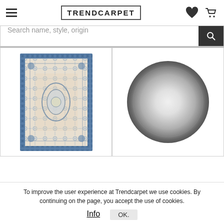[Figure (screenshot): TrendCarpet website header with hamburger menu, logo, heart icon, and shopping cart icon]
[Figure (screenshot): Search bar with placeholder 'Search name, style, origin' and a dark search button with magnifier icon]
[Figure (photo): Persian/oriental style rectangular rug with blue and beige floral pattern]
[Figure (photo): Round gray rug with gradient from dark gray border to light gray center]
To improve the user experience at Trendcarpet we use cookies. By continuing on the page, you accept the use of cookies.
Info
OK.